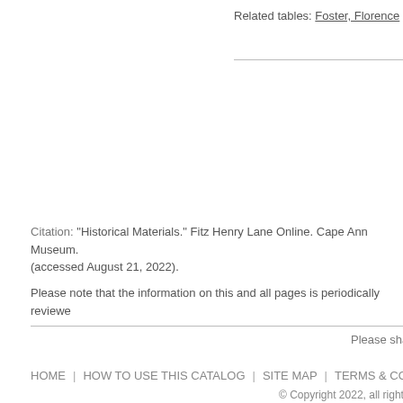Related tables: Foster, Florence
Citation: "Historical Materials." Fitz Henry Lane Online. Cape Ann Museum. (accessed August 21, 2022).
Please note that the information on this and all pages is periodically reviewed
Please share your kn
HOME | HOW TO USE THIS CATALOG | SITE MAP | TERMS & CON
© Copyright 2022, all rights reserve